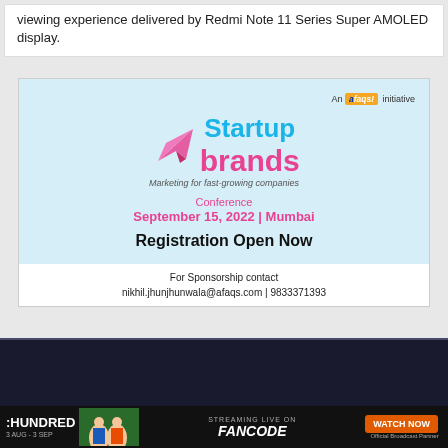viewing experience delivered by Redmi Note 11 Series Super AMOLED display.
[Figure (infographic): Startup Brands Conference advertisement. Light blue background with 'An afaqs! initiative' label. Logo: 'Startup brands' with a pink paper plane icon. Tagline: Marketing for fast-growing companies. Conference September 15, 2022 | Mumbai. Registration Open Now. For Sponsorship contact nikhil.jhunjhunwala@afaqs.com | 9833371393]
[Figure (screenshot): Dark bottom section of webpage with scroll-to-top button (circle with up arrow). Below it a dark navy background area.]
[Figure (infographic): Bottom banner advertisement: The Hundred cricket tournament streaming live on FanCode. Watch Now button in orange. 3 Aug - 3 Sep. Official Broadcast Partner.]